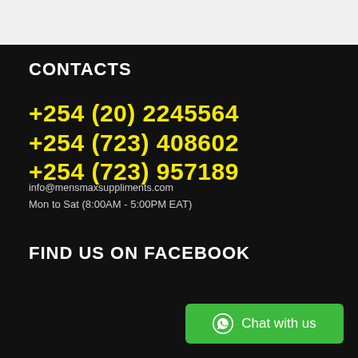CONTACTS
+254 (20) 2245564
+254 (723) 408602
+254 (723) 957189
info@mensmaxsuppliments.com
Mon to Sat (8:00AM - 5:00PM EAT)
FIND US ON FACEBOOK
Chat with us